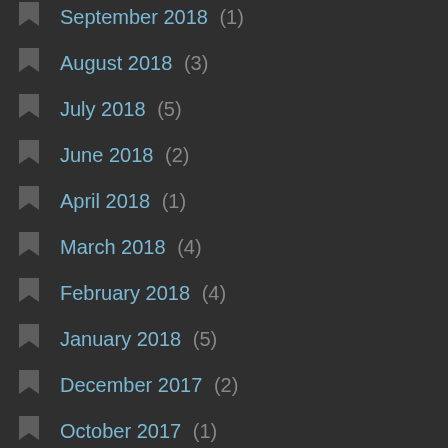September 2018 (1)
August 2018 (3)
July 2018 (5)
June 2018 (2)
April 2018 (1)
March 2018 (4)
February 2018 (4)
January 2018 (5)
December 2017 (2)
October 2017 (1)
September 2017 (4)
August 2017 (1)
July 2017 (4)